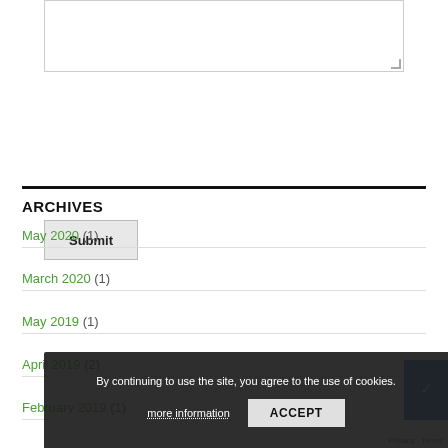[Figure (other): A textarea input box with a resize handle in the bottom-right corner]
Submit
ARCHIVES
May 2020 (1)
March 2020 (1)
May 2019 (1)
April 2019 (2)
February 2019 (1)
By continuing to use the site, you agree to the use of cookies. more information ACCEPT
Privacy · Terms